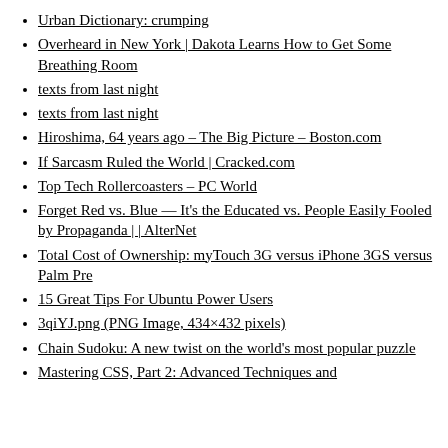Urban Dictionary: crumping
Overheard in New York | Dakota Learns How to Get Some Breathing Room
texts from last night
texts from last night
Hiroshima, 64 years ago – The Big Picture – Boston.com
If Sarcasm Ruled the World | Cracked.com
Top Tech Rollercoasters – PC World
Forget Red vs. Blue — It's the Educated vs. People Easily Fooled by Propaganda | | AlterNet
Total Cost of Ownership: myTouch 3G versus iPhone 3GS versus Palm Pre
15 Great Tips For Ubuntu Power Users
3qiYJ.png (PNG Image, 434×432 pixels)
Chain Sudoku: A new twist on the world's most popular puzzle
Mastering CSS, Part 2: Advanced Techniques and